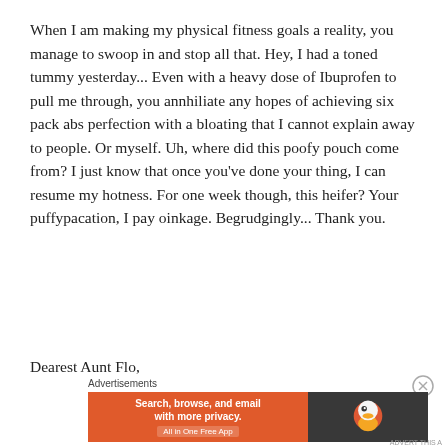When I am making my physical fitness goals a reality, you manage to swoop in and stop all that. Hey, I had a toned tummy yesterday... Even with a heavy dose of Ibuprofen to pull me through, you annhiliate any hopes of achieving six pack abs perfection with a bloating that I cannot explain away to people. Or myself. Uh, where did this poofy pouch come from? I just know that once you've done your thing, I can resume my hotness. For one week though, this heifer? Your puffypacation, I pay oinkage. Begrudgingly... Thank you.
Dearest Aunt Flo,
Advertisements
[Figure (screenshot): DuckDuckGo advertisement banner with orange left panel reading 'Search, browse, and email with more privacy. All in One Free App' and dark right panel with DuckDuckGo duck logo.]